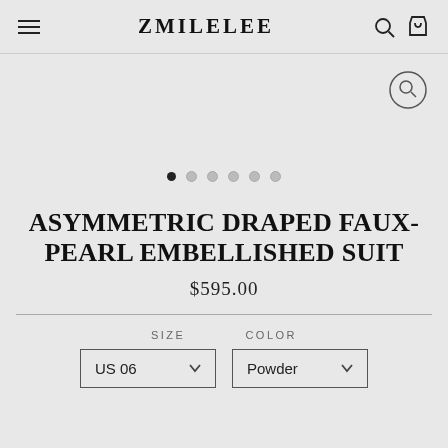ZMILELEE
[Figure (other): Product image area for Asymmetric Draped Faux-Pearl Embellished Suit with image carousel dots and zoom button]
ASYMMETRIC DRAPED FAUX-PEARL EMBELLISHED SUIT
$595.00
SIZE   COLOR
US 06   Powder